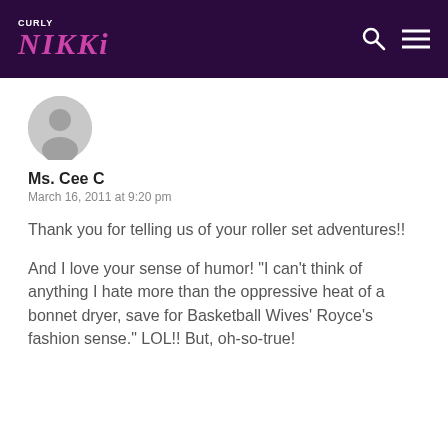CURLY NIKKI
[Figure (illustration): Gray circular avatar/user profile icon]
Ms. Cee C
March 16, 2011 at 9:20 pm
Thank you for telling us of your roller set adventures!!
And I love your sense of humor! "I can't think of anything I hate more than the oppressive heat of a bonnet dryer, save for Basketball Wives' Royce's fashion sense." LOL!! But, oh-so-true!